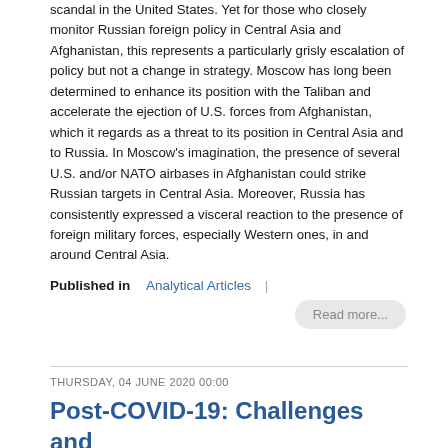scandal in the United States. Yet for those who closely monitor Russian foreign policy in Central Asia and Afghanistan, this represents a particularly grisly escalation of policy but not a change in strategy. Moscow has long been determined to enhance its position with the Taliban and accelerate the ejection of U.S. forces from Afghanistan, which it regards as a threat to its position in Central Asia and to Russia. In Moscow's imagination, the presence of several U.S. and/or NATO airbases in Afghanistan could strike Russian targets in Central Asia. Moreover, Russia has consistently expressed a visceral reaction to the presence of foreign military forces, especially Western ones, in and around Central Asia.
Published in  Analytical Articles  |
Read more...
THURSDAY, 04 JUNE 2020 00:00
Post-COVID-19: Challenges and Opportunities for Central Asia